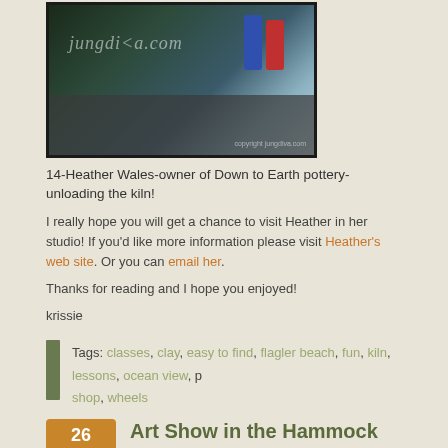[Figure (photo): Photo of pottery/kiln with watermark text 'jungdiva.com']
14-Heather Wales-owner of Down to Earth pottery-unloading the kiln!
I really hope you will get a chance to visit Heather in her studio! If you'd like more information please visit Heather's web site. Or you can email her.
Thanks for reading and I hope you enjoyed!
krissie
Tags: classes, clay, easy to find, flagler beach, fun, kiln, lessons, ocean view, p shop, wheels
Art Show in the Hammock
Posted in CREATIVE DISPLAY TIPS AND TUTORIALS | 1 Comment »
Well, I'm finally ready to enter my first official post. But maybe ready isn't quite the looking for; it's more like apprehensively optimistic. I'm still doing a lot of research best way to approach this whole endeavor, but I figured it was time to stick a toe the water. Part of my problem is that I have so many thoughts and ideas on what blog about that it's been hard to decide. But a chance encounter, made possible beautiful goddess Serendipity, solved that dilemma. She's always popping in whe